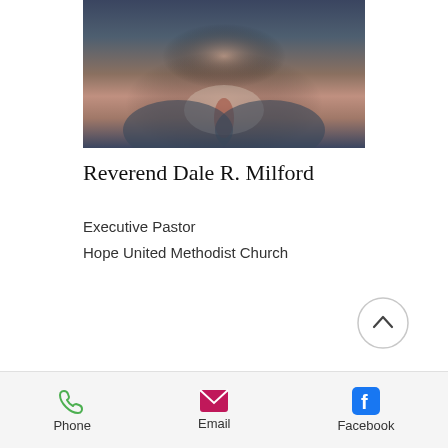[Figure (photo): Portrait photo of Reverend Dale R. Milford in a dark suit with a red tie, blurred background]
Reverend Dale R. Milford
Executive Pastor
Hope United Methodist Church
[Figure (other): Scroll-up button (circle with chevron/caret up icon)]
[Figure (photo): Partial photo of another person's head, partially cropped at bottom of page]
Phone   Email   Facebook